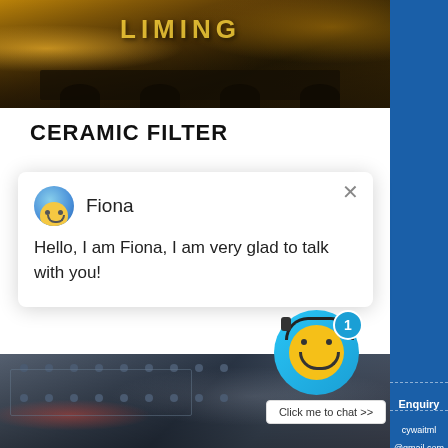[Figure (photo): Industrial heavy machinery / truck with 'LIMING' text visible, warm yellow-orange tones, photographed at a facility]
CERAMIC FILTER
Fiona
Hello, I am Fiona, I am very glad to talk with you!
[Figure (photo): Close-up of large industrial machinery, grey metallic surfaces with bolts and mechanical components, partially visible red pipes]
1
Click me to chat >>
Enquiry
cywaitml @gmail.com